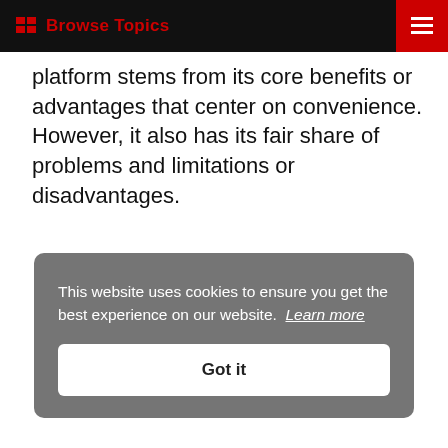Browse Topics
platform stems from its core benefits or advantages that center on convenience. However, it also has its fair share of problems and limitations or disadvantages.
This website uses cookies to ensure you get the best experience on our website. Learn more
Got it